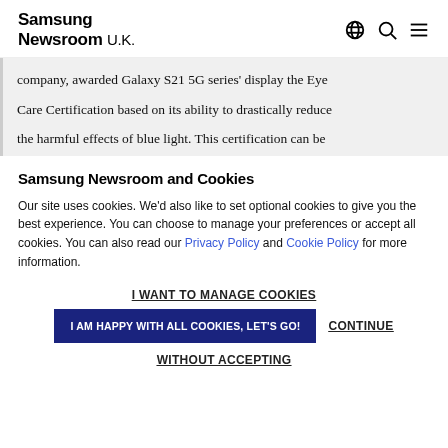Samsung Newsroom U.K.
company, awarded Galaxy S21 5G series' display the Eye Care Certification based on its ability to drastically reduce the harmful effects of blue light. This certification can be
Samsung Newsroom and Cookies
Our site uses cookies. We'd also like to set optional cookies to give you the best experience. You can choose to manage your preferences or accept all cookies. You can also read our Privacy Policy and Cookie Policy for more information.
I WANT TO MANAGE COOKIES
I AM HAPPY WITH ALL COOKIES, LET'S GO!
CONTINUE WITHOUT ACCEPTING